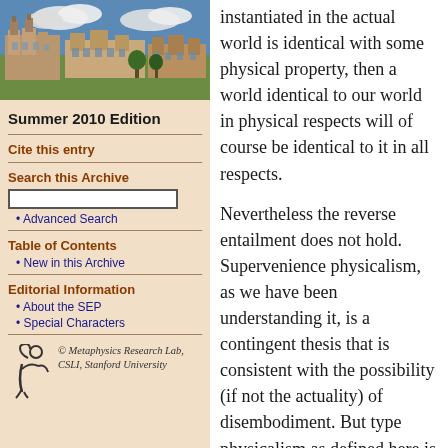[Figure (photo): Aerial/ground-level photograph of a historic university campus with stone buildings and blue sky with clouds]
Summer 2010 Edition
Cite this entry
Search this Archive
Advanced Search
Table of Contents
New in this Archive
Editorial Information
About the SEP
Special Characters
[Figure (logo): Metaphysics Research Lab logo — stylized figure/person icon]
© Metaphysics Research Lab, CSLI, Stanford University
instantiated in the actual world is identical with some physical property, then a world identical to our world in physical respects will of course be identical to it in all respects.
Nevertheless the reverse entailment does not hold. Supervenience physicalism, as we have been understanding it, is a contingent thesis that is consistent with the possibility (if not the actuality) of disembodiment. But type physicalism as defined here is inconsistent with this possibility. To that extent, supervenience physicalism does not entail type physicalism.